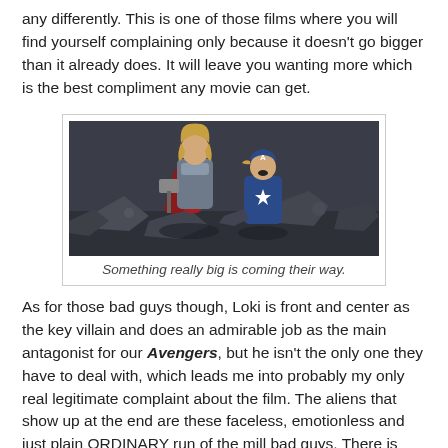any differently. This is one of those films where you will find yourself complaining only because it doesn't go bigger than it already does. It will leave you wanting more which is the best compliment any movie can get.
[Figure (photo): Two Marvel superhero characters (Thor and Captain America) looking upward, dressed in their costumes, against a rocky background.]
Something really big is coming their way.
As for those bad guys though, Loki is front and center as the key villain and does an admirable job as the main antagonist for our Avengers, but he isn't the only one they have to deal with, which leads me into probably my only real legitimate complaint about the film. The aliens that show up at the end are these faceless, emotionless and just plain ORDINARY run of the mill bad guys. There is absolutely nothing unique